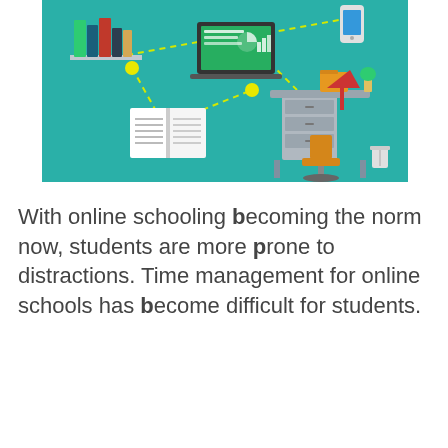[Figure (illustration): An infographic illustration on a teal/turquoise background showing online schooling elements connected by dashed yellow lines with yellow dot nodes: a bookshelf with colorful books (top left), a laptop displaying charts/graphs (top center), a mobile phone (top right), an open notebook/book (bottom left), and a desk setup with a chair, lamp, filing cabinet, and trash can (bottom right).]
With online schooling becoming the norm now, students are more prone to distractions. Time management for online schools has become difficult for students.